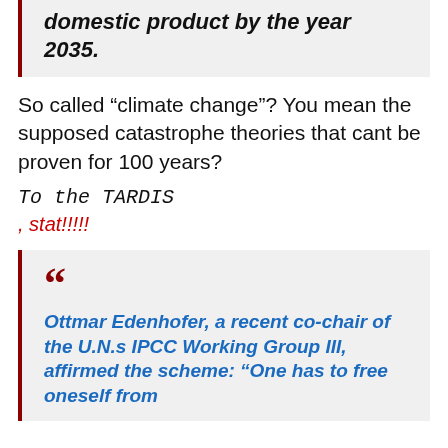domestic product by the year 2035.
So called “climate change”? You mean the supposed catastrophe theories that cant be proven for 100 years?
To the TARDIS
, stat!!!!!
““ Ottmar Edenhofer, a recent co-chair of the U.N.s IPCC Working Group III, affirmed the scheme: “One has to free oneself from